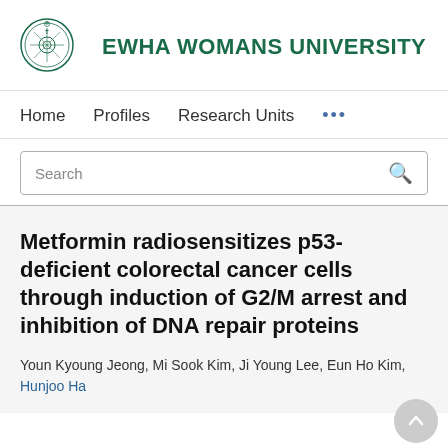EWHA WOMANS UNIVERSITY
Home   Profiles   Research Units   ...
Search
Metformin radiosensitizes p53-deficient colorectal cancer cells through induction of G2/M arrest and inhibition of DNA repair proteins
Youn Kyoung Jeong, Mi Sook Kim, Ji Young Lee, Eun Ho Kim, Hunjoo Ha